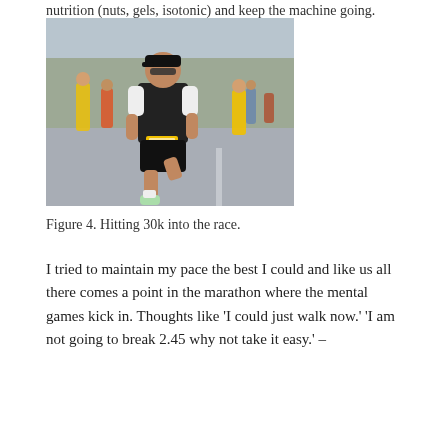nutrition (nuts, gels, isotonic) and keep the machine going.
[Figure (photo): A runner in a black and white athletic shirt and black shorts running in a road marathon race, with palm trees and other runners visible in the background.]
Figure 4. Hitting 30k into the race.
I tried to maintain my pace the best I could and like us all there comes a point in the marathon where the mental games kick in. Thoughts like 'I could just walk now.' 'I am not going to break 2.45 why not take it easy.' –